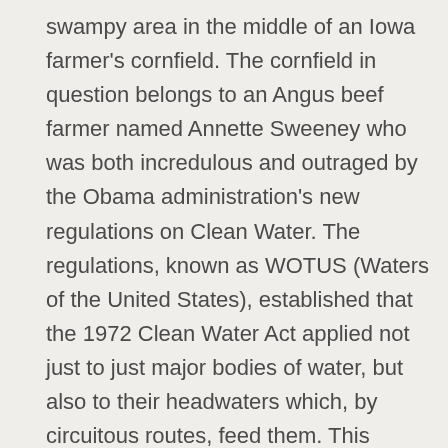swampy area in the middle of an Iowa farmer's cornfield. The cornfield in question belongs to an Angus beef farmer named Annette Sweeney who was both incredulous and outraged by the Obama administration's new regulations on Clean Water. The regulations, known as WOTUS (Waters of the United States), established that the 1972 Clean Water Act applied not just to just major bodies of water, but also to their headwaters which, by circuitous routes, feed them. This headwater stipulation, by definition, included a ½ acre swampy place in the middle of the cornfield Annette Sweeney's family had used to feed their beef cows for over two generations. This meant that the cornfield she thought belonged to her family was now essentially under management of the federal government—which stipulated requirements for new inspections and permitting regimes costing her thousands of dollars and